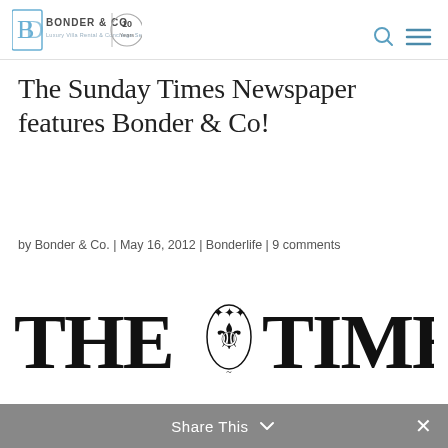[Figure (logo): Bonder & Co logo with 10 Years badge — luxury villa rental and concierge service brand mark]
The Sunday Times Newspaper features Bonder & Co!
by Bonder & Co. | May 16, 2012 | Bonderlife | 9 comments
[Figure (logo): The Times newspaper masthead logo in black with royal coat of arms between THE and TIMES]
Share This ∨  ×